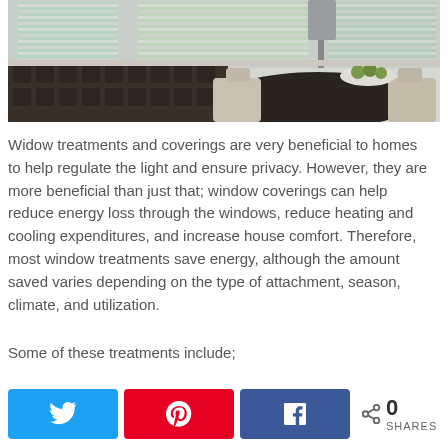[Figure (photo): Interior photo of a dining room with horizontal window blinds on multiple windows, a dark wood sideboard, round dark dining table with cream chairs, lamp, and a bowl of green apples.]
Widow treatments and coverings are very beneficial to homes to help regulate the light and ensure privacy. However, they are more beneficial than just that; window coverings can help reduce energy loss through the windows, reduce heating and cooling expenditures, and increase house comfort. Therefore, most window treatments save energy, although the amount saved varies depending on the type of attachment, season, climate, and utilization.
Some of these treatments include;